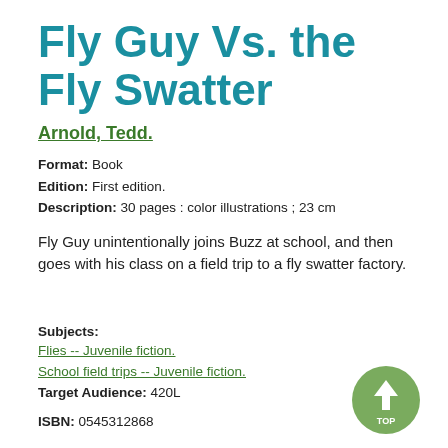Fly Guy Vs. the Fly Swatter
Arnold, Tedd.
Format: Book
Edition: First edition.
Description: 30 pages : color illustrations ; 23 cm
Fly Guy unintentionally joins Buzz at school, and then goes with his class on a field trip to a fly swatter factory.
Subjects:
Flies -- Juvenile fiction.
School field trips -- Juvenile fiction.
Target Audience: 420L
ISBN: 0545312868
[Figure (other): Green circular button with white upward arrow and text TOP]